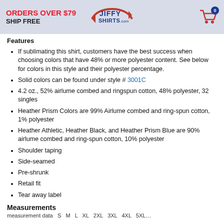ORDERS OVER $79 SHIP FREE | JiffyShirts.com | Cart: 0
Features
If sublimating this shirt, customers have the best success when choosing colors that have 48% or more polyester content. See below for colors in this style and their polyester percentage.
Solid colors can be found under style # 3001C
4.2 oz., 52% airlume combed and ringspun cotton, 48% polyester, 32 singles
Heather Prism Colors are 99% Airlume combed and ring-spun cotton, 1% polyester
Heather Athletic, Heather Black, and Heather Prism Blue are 90% airlume combed and ring-spun cotton, 10% polyester
Shoulder taping
Side-seamed
Pre-shrunk
Retail fit
Tear away label
Measurements
measurement data row (truncated)